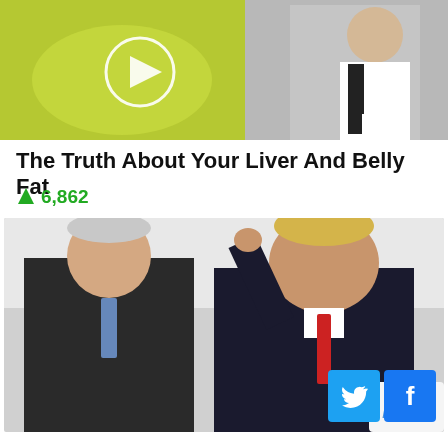[Figure (photo): Two-panel thumbnail image: left panel shows a green/yellow liquid with a circular play button overlay; right panel shows a person in a white lab coat]
The Truth About Your Liver And Belly Fat
🔺 6,862
[Figure (photo): Photo of two men in dark suits outdoors: one on the left with gray hair and blue tie, one on the right with blond hair and red tie with arm raised; a reCAPTCHA badge in bottom-right corner]